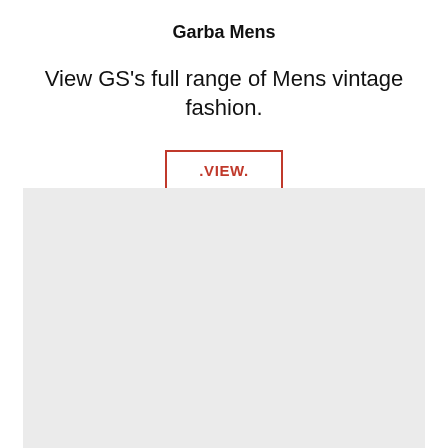Garba Mens
View GS's full range of Mens vintage fashion.
.VIEW.
[Figure (other): Light grey rectangular placeholder image area]